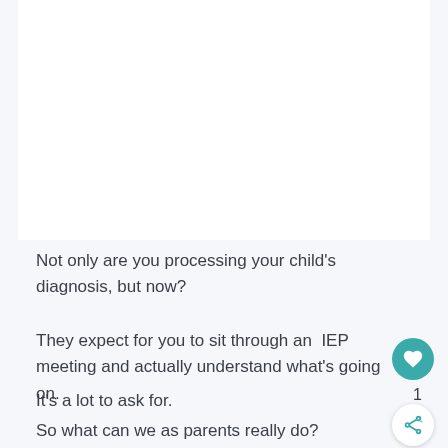Not only are you processing your child's diagnosis, but now?
They expect for you to sit through an IEP meeting and actually understand what's going on.
It's a lot to ask for.
So what can we as parents really do?